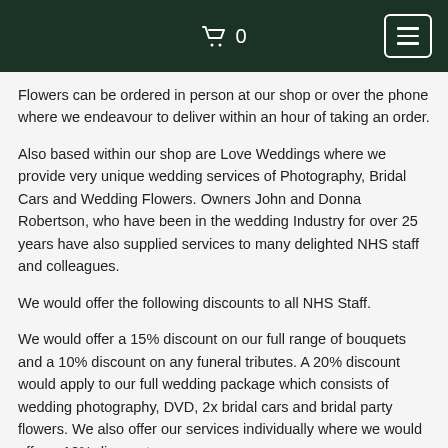🛒 0
Flowers can be ordered in person at our shop or over the phone where we endeavour to deliver within an hour of taking an order.
Also based within our shop are Love Weddings where we provide very unique wedding services of Photography, Bridal Cars and Wedding Flowers. Owners John and Donna Robertson, who have been in the wedding Industry for over 25 years have also supplied services to many delighted NHS staff and colleagues.
We would offer the following discounts to all NHS Staff.
We would offer a 15% discount on our full range of bouquets and a 10% discount on any funeral tributes. A 20% discount would apply to our full wedding package which consists of wedding photography, DVD, 2x bridal cars and bridal party flowers. We also offer our services individually where we would offer a 10% discount.